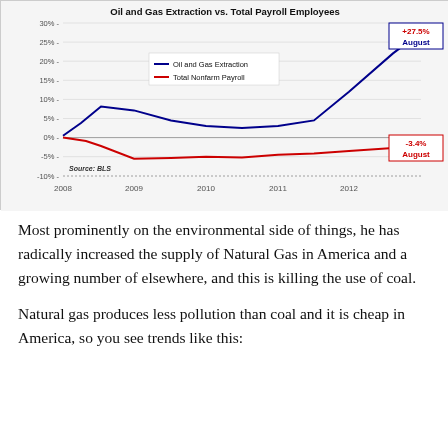[Figure (line-chart): Line chart showing Oil and Gas Extraction employment up +27.5% in August vs Total Nonfarm Payroll down -3.4% in August, indexed from 2008.]
Most prominently on the environmental side of things, he has radically increased the supply of Natural Gas in America and a growing number of elsewhere, and this is killing the use of coal.
Natural gas produces less pollution than coal and it is cheap in America, so you see trends like this: